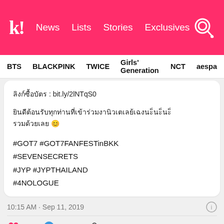k! News Lists Stories Exclusives
BTS BLACKPINK TWICE Girls' Generation NCT aespa
ลิงก์ซื้อบัตร : bit.ly/2lNTqS0

[Thai text] 😊

#GOT7 #GOT7FANFESTinBKK #SEVENSECRETS #JYP #JYPTHAILAND #4NOLOGUE
10:15 AM · Sep 11, 2019
107 Reply Copy link
Read 3 replies